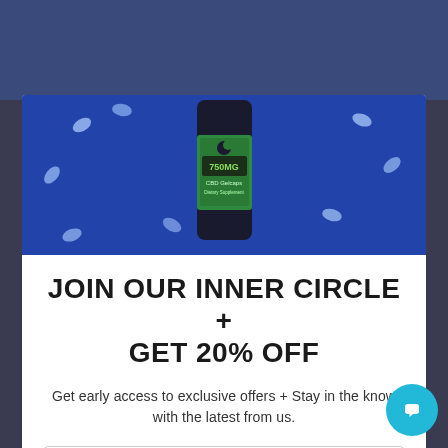[Figure (photo): Product photo of Full Moon Hemp 750MG CBD Gelcaps bottle on a blue background with gel capsules scattered around]
JOIN OUR INNER CIRCLE + GET 20% OFF
Get early access to exclusive offers + Stay in the know with the latest from us.
Name
Email
JOIN THE LIST